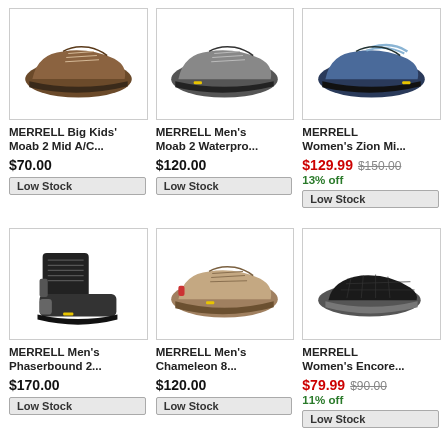[Figure (photo): Brown hiking shoe - MERRELL Big Kids' Moab 2 Mid A/C]
MERRELL Big Kids' Moab 2 Mid A/C...
$70.00
Low Stock
[Figure (photo): Gray hiking shoe - MERRELL Men's Moab 2 Waterpro...]
MERRELL Men's Moab 2 Waterpro...
$120.00
Low Stock
[Figure (photo): Blue/dark hiking shoe - MERRELL Women's Zion Mi...]
MERRELL Women's Zion Mi...
$129.99 $150.00
13% off
Low Stock
[Figure (photo): Black hiking boot - MERRELL Men's Phaserbound 2...]
MERRELL Men's Phaserbound 2...
$170.00
Low Stock
[Figure (photo): Tan trail shoe - MERRELL Men's Chameleon 8...]
MERRELL Men's Chameleon 8...
$120.00
Low Stock
[Figure (photo): Black slip-on shoe - MERRELL Women's Encore...]
MERRELL Women's Encore...
$79.99 $90.00
11% off
Low Stock